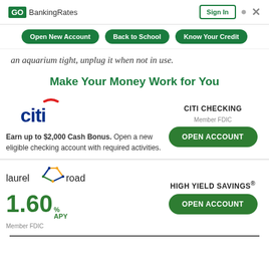GOBankingRates | Sign In
Open New Account | Back to School | Know Your Credit
an aquarium tight, unplug it when not in use.
Make Your Money Work for You
[Figure (other): Citi bank advertisement: Citi logo, Earn up to $2,000 Cash Bonus. Open a new eligible checking account with required activities. CITI CHECKING Member FDIC. OPEN ACCOUNT button.]
[Figure (other): Laurel Road advertisement: Laurel Road logo with geometric road graphic, 1.60% APY rate, Member FDIC. HIGH YIELD SAVINGS® label. OPEN ACCOUNT button.]